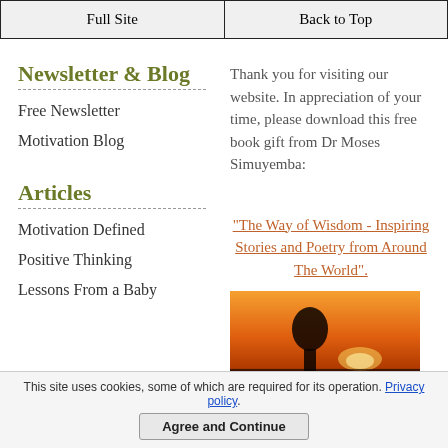Full Site | Back to Top
Newsletter & Blog
Free Newsletter
Motivation Blog
Thank you for visiting our website. In appreciation of your time, please download this free book gift from Dr Moses Simuyemba:
Articles
Motivation Defined
Positive Thinking
Lessons From a Baby
"The Way of Wisdom - Inspiring Stories and Poetry from Around The World".
[Figure (photo): Book cover or sunset image with silhouette, warm orange and brown tones]
This site uses cookies, some of which are required for its operation. Privacy policy. Agree and Continue